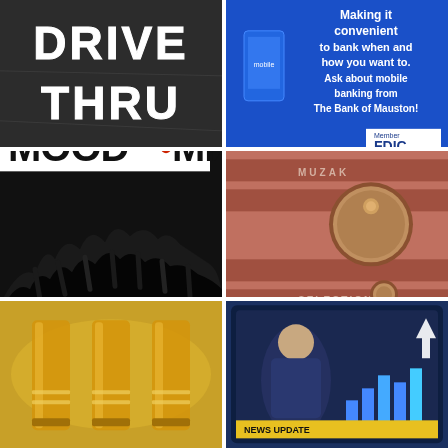[Figure (photo): Drive thru text painted on asphalt road surface in white letters]
[Figure (photo): Blue digital signage screen with text: Making it convenient to bank when and how you want to. Ask about mobile banking from The Bank of Mauston! Member FDIC]
[Figure (photo): MOOD:MIX logo over black and white crowd silhouette at concert with raised hands]
[Figure (photo): Close-up of copper/pink Muzak audio equipment with control knobs, MUZAK and SELECTION labels]
[Figure (photo): Close-up of three yellow/amber beer glasses or test tubes]
[Figure (photo): Television screen showing a news program with a person visible and bar chart graphics, with an upward arrow overlay]